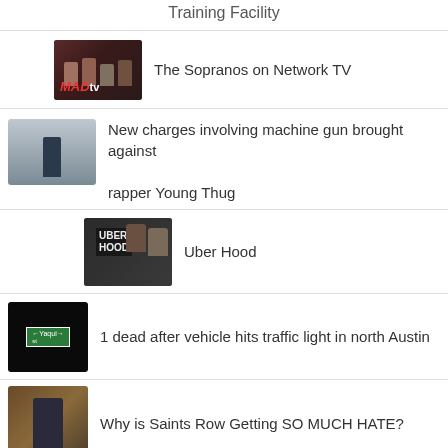Training Facility
[Figure (photo): MAD TV show thumbnail with people]
The Sopranos on Network TV
[Figure (photo): Person standing in room, Young Thug article thumbnail]
New charges involving machine gun brought against rapper Young Thug
[Figure (photo): Uber Hood video thumbnail with two people and overlay text]
Uber Hood
[Figure (photo): Dark thumbnail with street sign, Austin traffic light article]
1 dead after vehicle hits traffic light in north Austin
[Figure (photo): Saints Row colorful game artwork thumbnail]
Why is Saints Row Getting SO MUCH HATE?